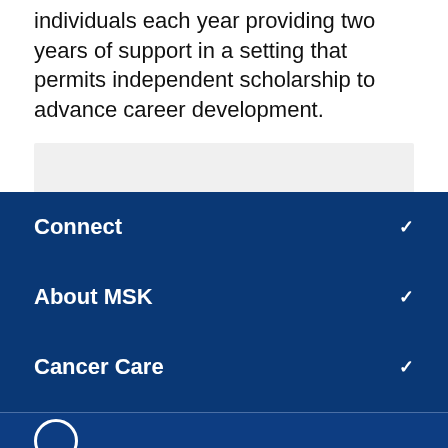individuals each year providing two years of support in a setting that permits independent scholarship to advance career development.
Connect
About MSK
Cancer Care
Research & Education